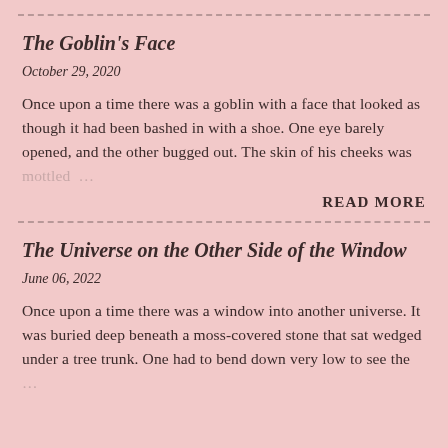The Goblin's Face
October 29, 2020
Once upon a time there was a goblin with a face that looked as though it had been bashed in with a shoe. One eye barely opened, and the other bugged out. The skin of his cheeks was mottled …
READ MORE
The Universe on the Other Side of the Window
June 06, 2022
Once upon a time there was a window into another universe. It was buried deep beneath a moss-covered stone that sat wedged under a tree trunk. One had to bend down very low to see the …